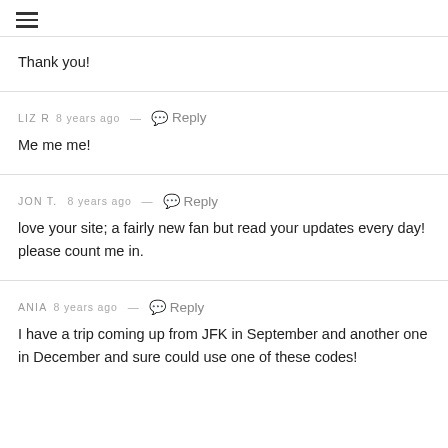[Figure (other): Hamburger menu icon (three horizontal lines)]
Thank you!
LIZ R  8 years ago  —  Reply
Me me me!
JON T.  8 years ago  —  Reply
love your site; a fairly new fan but read your updates every day! please count me in.
ANIA  8 years ago  —  Reply
I have a trip coming up from JFK in September and another one in December and sure could use one of these codes!